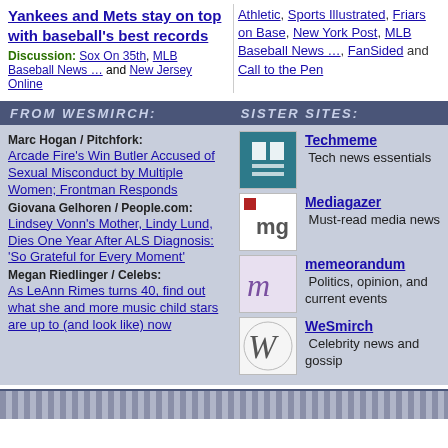Yankees and Mets stay on top with baseball's best records
Discussion: Sox On 35th, MLB Baseball News … and New Jersey Online
Athletic, Sports Illustrated, Friars on Base, New York Post, MLB Baseball News …, FanSided and Call to the Pen
FROM WESMIRCH:
SISTER SITES:
Marc Hogan / Pitchfork: Arcade Fire's Win Butler Accused of Sexual Misconduct by Multiple Women; Frontman Responds
Giovana Gelhoren / People.com: Lindsey Vonn's Mother, Lindy Lund, Dies One Year After ALS Diagnosis: 'So Grateful for Every Moment'
Megan Riedlinger / Celebs: As LeAnn Rimes turns 40, find out what she and more music child stars are up to (and look like) now
Techmeme Tech news essentials
Mediagazer Must-read media news
memeorandum Politics, opinion, and current events
WeSmirch Celebrity news and gossip